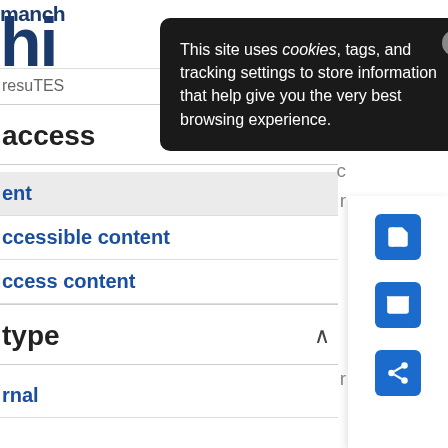[Figure (screenshot): Website header with partial logo text 'manch' and large 'hi' letters in dark blue, hamburger menu icon at top right]
This site uses cookies, tags, and tracking settings to store information that help give you the very best browsing experience.
resu...
access
ent
ccessible content
ccess content
type
rnal